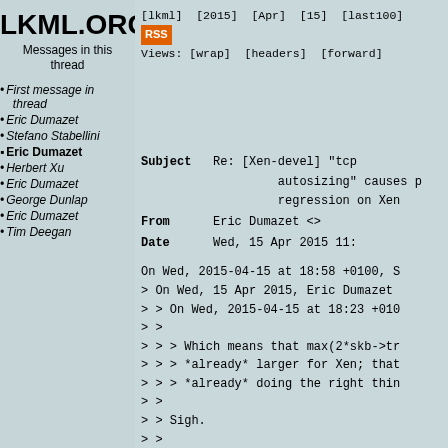LKML.ORG
Messages in this thread
First message in thread
Eric Dumazet
Stefano Stabellini
Eric Dumazet (bold/current)
Herbert Xu
Eric Dumazet
George Dunlap
Eric Dumazet
Tim Deegan
[lkml]  [2015]  [Apr]  [15]  [last100]  RSS  Views: [wrap]  [headers]  [forward]
Subject  Re: [Xen-devel] "tcp autosizing" causes p regression on Xen
From  Eric Dumazet <>
Date  Wed, 15 Apr 2015 11:
On Wed, 2015-04-15 at 18:58 +0100, S
> On Wed, 15 Apr 2015, Eric Dumazet
> > On Wed, 2015-04-15 at 18:23 +010
> >
> > > Which means that max(2*skb->tr
> > > *already* larger for Xen; that
> > > *already* doing the right thin
> >
> > Sigh.
> >
> > 1ms of traffic at 40Gbit is 5 MB
> >